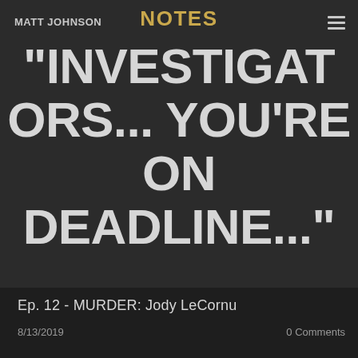MATT JOHNSON  NOTES
"INVESTIGATORS... you're on DEADLINE..."
Ep. 12 - MURDER: Jody LeCornu
8/13/2019
0 Comments